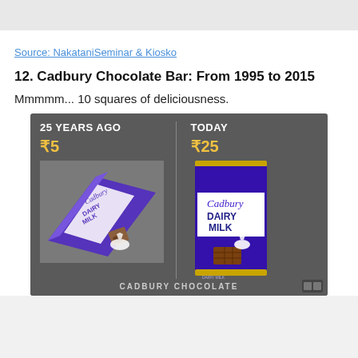Source: NakataniSeminar & Kiosko
12. Cadbury Chocolate Bar: From 1995 to 2015
Mmmmm... 10 squares of deliciousness.
[Figure (infographic): Infographic comparing Cadbury Dairy Milk chocolate bar price 25 years ago (₹5) vs today (₹25). Left side shows the older larger bar, right side shows the current smaller bar. Caption reads CADBURY CHOCOLATE.]